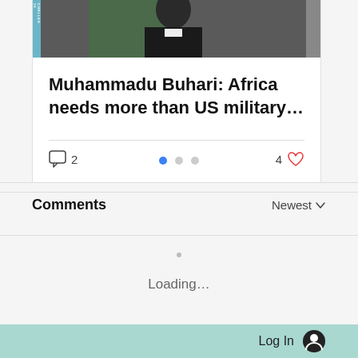[Figure (photo): Photo of Muhammadu Buhari in a dark suit, cropped at top, with a green background element visible]
Muhammadu Buhari: Africa needs more than US military...
2 comments, 4 likes
Comments   Newest
Loading...
Log In